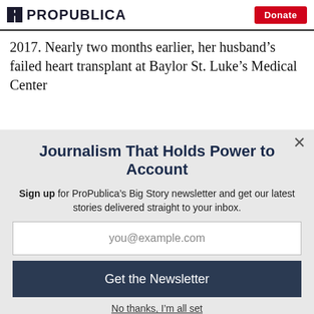ProPublica | Donate
2017. Nearly two months earlier, her husband's failed heart transplant at Baylor St. Luke's Medical Center
Journalism That Holds Power to Account
Sign up for ProPublica's Big Story newsletter and get our latest stories delivered straight to your inbox.
you@example.com
Get the Newsletter
No thanks, I'm all set
This site is protected by reCAPTCHA and the Google Privacy Policy and Terms of Service apply.